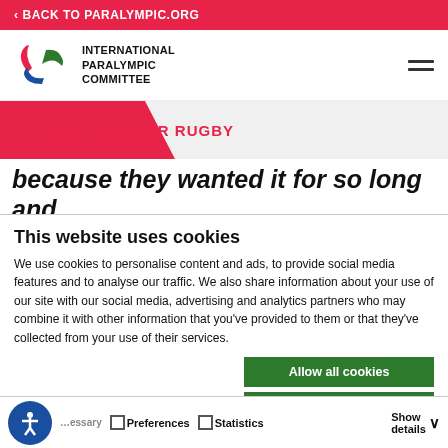< BACK TO PARALYMPIC.ORG
[Figure (logo): International Paralympic Committee logo with stylized agitos and text INTERNATIONAL PARALYMPIC COMMITTEE]
WHEELCHAIR RUGBY
because they wanted it for so long and they were at the end of the career and
This website uses cookies
We use cookies to personalise content and ads, to provide social media features and to analyse our traffic. We also share information about your use of our site with our social media, advertising and analytics partners who may combine it with other information that you've provided to them or that they've collected from your use of their services.
Allow all cookies
Allow selection
Use necessary cookies
Necessary   Preferences   Statistics
Show details
"The main focus was going to be